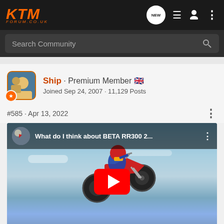KTM FORUM.CO.UK
Search Community
[Figure (screenshot): User profile: Ship · Premium Member, Joined Sep 24, 2007 · 11,129 Posts]
#585 · Apr 13, 2022
[Figure (screenshot): YouTube video embed: What do I think about BETA RR300 2... with a motocross rider doing a jump against sky background, large red play button overlay]
[Figure (photo): KTM advertisement banner: BREAK LOOSE · NO PAYMENTS NO INTEREST FOR 60 DAYS · KTM logo]